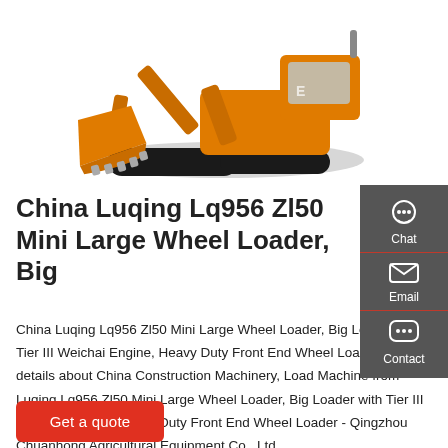[Figure (photo): Orange excavator/wheel loader construction machine on white background, shown from side with bucket extended]
China Luqing Lq956 Zl50 Mini Large Wheel Loader, Big
China Luqing Lq956 Zl50 Mini Large Wheel Loader, Big Loader with Tier III Weichai Engine, Heavy Duty Front End Wheel Loader, Find details about China Construction Machinery, Load Machine from Luqing Lq956 Zl50 Mini Large Wheel Loader, Big Loader with Tier III Weichai Engine, Heavy Duty Front End Wheel Loader - Qingzhou Chuanhong Agricultural Equipment Co., Ltd.
Get a quote